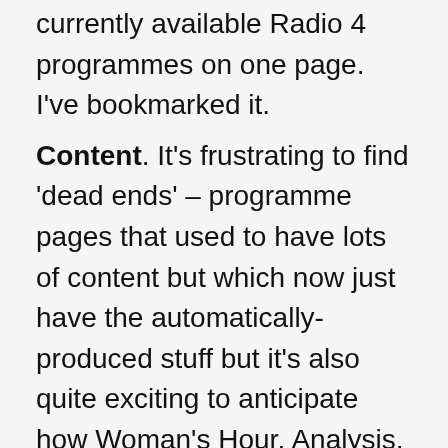currently available Radio 4 programmes on one page. I've bookmarked it.
Content. It's frustrating to find 'dead ends' – programme pages that used to have lots of content but which now just have the automatically-produced stuff but it's also quite exciting to anticipate how Woman's Hour, Analysis, Crossing Continents et al will fill their new pages. They will now find it easier to do too, so we should see more interesting pages quite soon.
Leigh has pointed out that all the content from the old programme pages is still available via